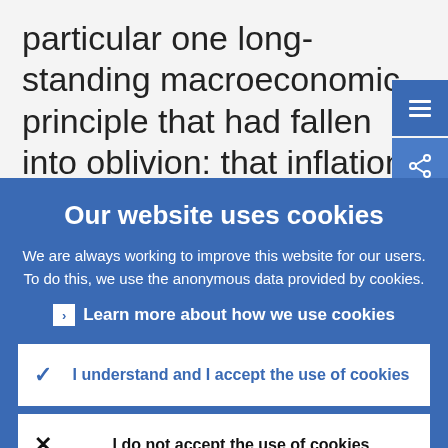particular one long-standing macroeconomic principle that had fallen into oblivion: that inflation is ultimately a monetary phenomenon, meaning that inflation is, in the long run, solely
Our website uses cookies
We are always working to improve this website for our users. To do this, we use the anonymous data provided by cookies.
Learn more about how we use cookies
I understand and I accept the use of cookies
I do not accept the use of cookies